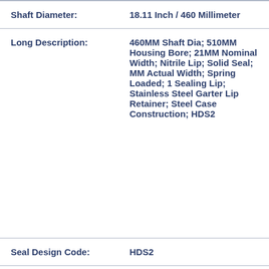| Property | Value |
| --- | --- |
| Shaft Diameter: | 18.11 Inch / 460 Millimeter |
| Long Description: | 460MM Shaft Dia; 510MM Housing Bore; 21MM Nominal Width; Nitrile Lip; Solid Seal; MM Actual Width; Spring Loaded; 1 Sealing Lip; Stainless Steel Garter Lip Retainer; Steel Case Construction; HDS2 |
| Seal Design Code: | HDS2 |